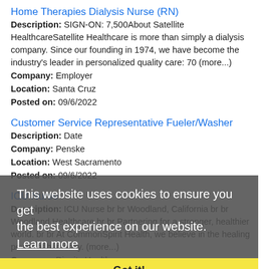Home Therapies Dialysis Nurse (RN)
Description: SIGN-ON: 7,500About Satellite HealthcareSatellite Healthcare is more than simply a dialysis company. Since our founding in 1974, we have become the industry's leader in personalized quality care: 70 (more...)
Company: Employer
Location: Santa Cruz
Posted on: 09/6/2022
Customer Service Representative Fueler/Washer
Description: Date
Company: Penske
Location: West Sacramento
Posted on: 09/6/2022
ICU Nurse
Description: ICU Nurse br br Woodland, California br br Woodland Healthcare br br Partnering for a stronger, healthier world. br br At CommonSpirit Health, we believe in the healing power of humanity. (more...)
Company: Dignity Health
Location: Woodland
Posted on: 09/6/2022
This website uses cookies to ensure you get the best experience on our website. Learn more Got it!